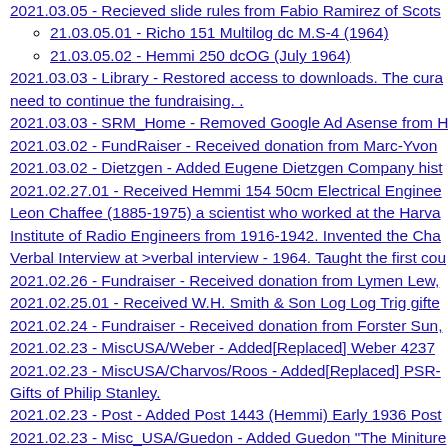2021.03.05 - Recieved slide rules from Fabio Ramirez of Scots...
21.03.05.01 - Richo 151 Multilog dc M.S-4 (1964)
21.03.05.02 - Hemmi 250 dcOG (July 1964)
2021.03.03 - Library - Restored access to downloads. The cura... need to continue the fundraising. .
2021.03.03 - SRM_Home - Removed Google Ad Asense from P...
2021.03.02 - FundRaiser - Received donation from Marc-Yvon...
2021.03.02 - Dietzgen - Added Eugene Dietzgen Company hist...
2021.02.27.01 - Received Hemmi 154 50cm Electrical Enginee... Leon Chaffee (1885-1975) a scientist who worked at the Harva... Institute of Radio Engineers from 1916-1942. Invented the Cha... Verbal Interview at >verbal interview - 1964. Taught the first cou...
2021.02.26 - Fundraiser - Received donation from Lymen Lew,...
2021.02.25.01 - Received W.H. Smith & Son Log Log Trig gifte...
2021.02.24 - Fundraiser - Received donation from Forster Sun,...
2021.02.23 - MiscUSA/Weber - Added[Replaced] Weber 4237 ...
2021.02.23 - MiscUSA/Charvos/Roos - Added[Replaced] PSR-... Gifts of Philip Stanley.
2021.02.23 - Post - Added Post 1443 (Hemmi) Early 1936 Post...
2021.02.23 - Misc_USA/Guedon - Added Guedon "The Miniture... Philip Stanley.
2021.02.22.01 - Received Hemmi 266 Electronic slide rule. dcO...
2021.02.21.01 - Received Lafayette F-428 LogLogDeci-Trig sli...
2021.02.21 - SR_WhosWho - Added Greg Scott, from Brisbane...
2021.02.20 - Scanned over 800 pages on instructions manuals...
2021.02.20.01 - Received Post 1459 Electrical Engineer (simila...
2021.02.19.01 - Received Pickett No.501 Business and Financ...
2021.02.18.01 - Received Pickett No.140-T Microline LogLog w...